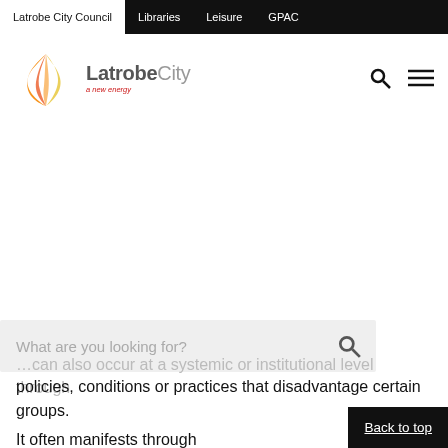Latrobe City Council | Libraries | Leisure | GPAC
[Figure (logo): Latrobe City logo with flame/bird graphic and tagline 'a new energy']
...can also occur at a systemic or institutional level through policies, conditions or practices that disadvantage certain groups.
It often manifests through unconscious bias or